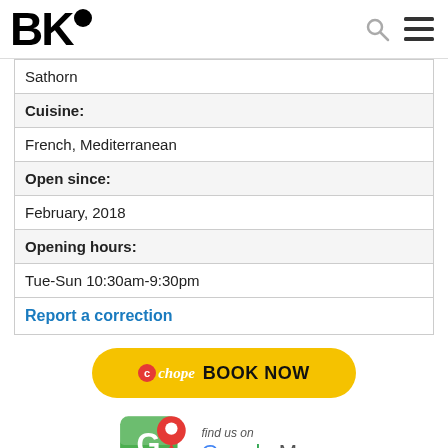BK●
| Sathorn |
| Cuisine: |
| French, Mediterranean |
| Open since: |
| February, 2018 |
| Opening hours: |
| Tue-Sun 10:30am-9:30pm |
| Report a correction |
[Figure (logo): Chope BOOK NOW yellow button]
[Figure (logo): Google Maps logo with pin icon and 'find us on Google Maps' text]